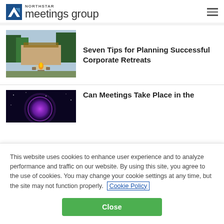[Figure (logo): Northstar Meetings Group logo with blue arrow icon and text]
[Figure (photo): Outdoor fire pit with chairs around it at dusk, lodge in background]
Seven Tips for Planning Successful Corporate Retreats
[Figure (photo): Purple glowing planet/globe on dark space background]
Can Meetings Take Place in the
This website uses cookies to enhance user experience and to analyze performance and traffic on our website. By using this site, you agree to the use of cookies. You may change your cookie settings at any time, but the site may not function properly. Cookie Policy
Close